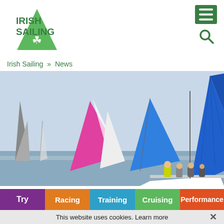[Figure (logo): Irish Sailing logo with green shamrock sail icon and green bold text reading IRISH SAILING]
[Figure (other): Green hamburger menu icon (three horizontal white lines on green background) and green search magnifier icon]
Irish Sailing » News
[Figure (photo): Sailing race photo showing multiple sailboats with colorful spinnakers (blue, pink/magenta, white) racing on the water. Crew members visible on nearest boat in yellow and grey jackets.]
Try
Racing
Training
Cruising
Performance
This website uses cookies. Learn more